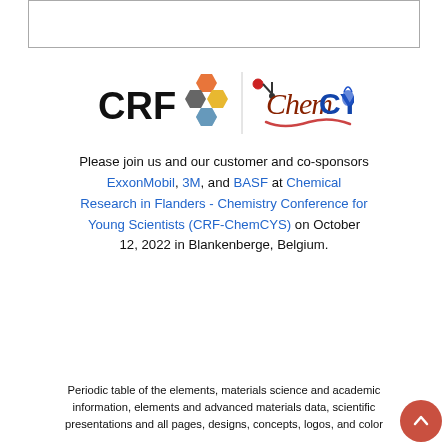[Figure (logo): CRF hexagonal dots logo and ChemCYS logo side by side]
Please join us and our customer and co-sponsors ExxonMobil, 3M, and BASF at Chemical Research in Flanders - Chemistry Conference for Young Scientists (CRF-ChemCYS) on October 12, 2022 in Blankenberge, Belgium.
Periodic table of the elements, materials science and academic information, elements and advanced materials data, scientific presentations and all pages, designs, concepts, logos, and color